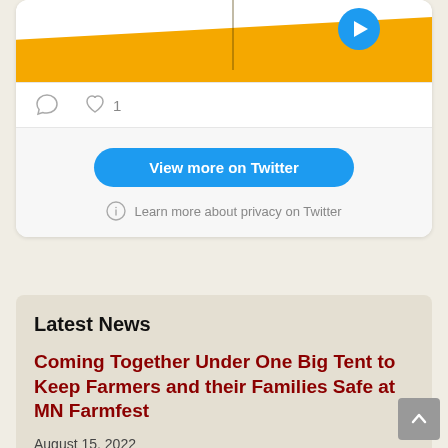[Figure (screenshot): Twitter embedded card showing a post with a yellow diagonal stripe image and a play button. Below the image are action icons (comment and heart with count 1). Below that is a 'View more on Twitter' blue button and a 'Learn more about privacy on Twitter' info link.]
Latest News
Coming Together Under One Big Tent to Keep Farmers and their Families Safe at MN Farmfest
August 15, 2022